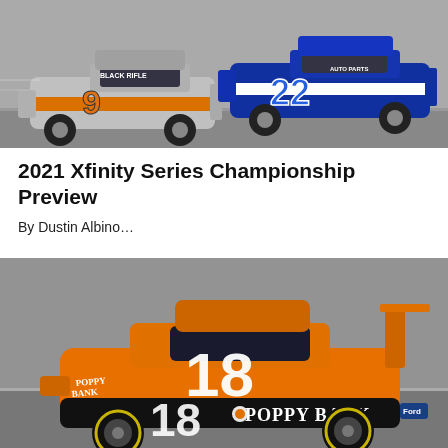[Figure (photo): Two NASCAR Xfinity Series race cars on track — car #9 (gray/orange, Black Rifle Coffee) and car #22 (blue/white, Discount Auto Parts)]
2021 Xfinity Series Championship Preview
By Dustin Albino…
[Figure (photo): NASCAR Xfinity Series car #18 in orange and black Poppy Bank livery on a race track]